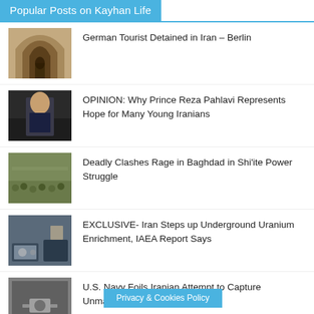Popular Posts on Kayhan Life
German Tourist Detained in Iran – Berlin
OPINION: Why Prince Reza Pahlavi Represents Hope for Many Young Iranians
Deadly Clashes Rage in Baghdad in Shi'ite Power Struggle
EXCLUSIVE- Iran Steps up Underground Uranium Enrichment, IAEA Report Says
U.S. Navy Foils Iranian Attempt to Capture Unmanned … – Fleet